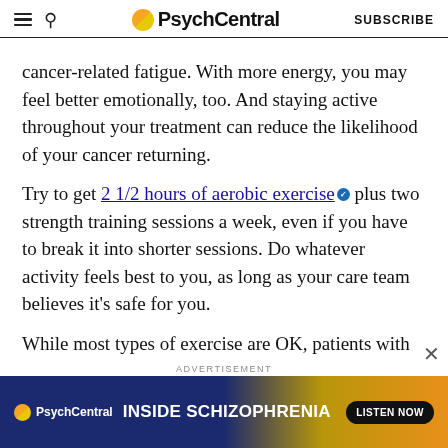PsychCentral — SUBSCRIBE
cancer-related fatigue. With more energy, you may feel better emotionally, too. And staying active throughout your treatment can reduce the likelihood of your cancer returning.
Try to get 2 1/2 hours of aerobic exercise plus two strength training sessions a week, even if you have to break it into shorter sessions. Do whatever activity feels best to you, as long as your care team believes it's safe for you.
While most types of exercise are OK, patients with neuropathies, bone metastases, and other risk factors
[Figure (screenshot): PsychCentral advertisement banner for 'Inside Schizophrenia' podcast with Listen Now button]
ADVERTISEMENT